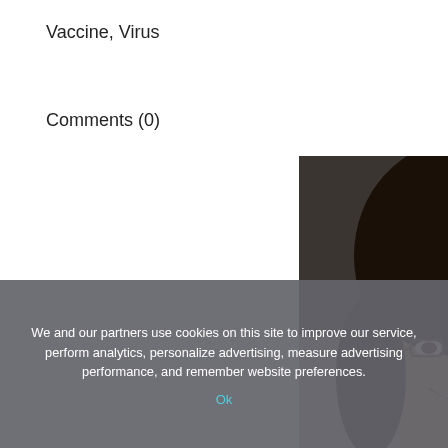Vaccine, Virus
Comments (0)
[Figure (photo): Portrait photo of Dr. Sanchari Sinha Dutta, a woman with glasses and dark hair, smiling]
Written by
Dr. Sanchari Sinha Dutta
We and our partners use cookies on this site to improve our service, perform analytics, personalize advertising, measure advertising performance, and remember website preferences.